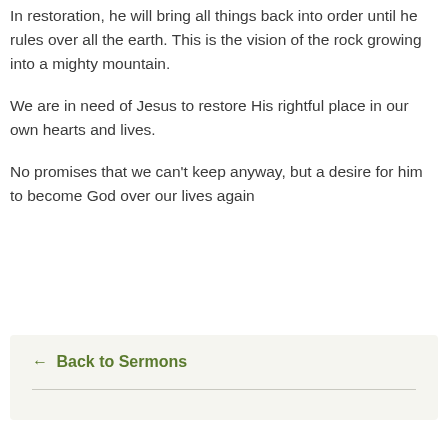In restoration, he will bring all things back into order until he rules over all the earth. This is the vision of the rock growing into a mighty mountain.
We are in need of Jesus to restore His rightful place in our own hearts and lives.
No promises that we can't keep anyway, but a desire for him to become God over our lives again
← Back to Sermons